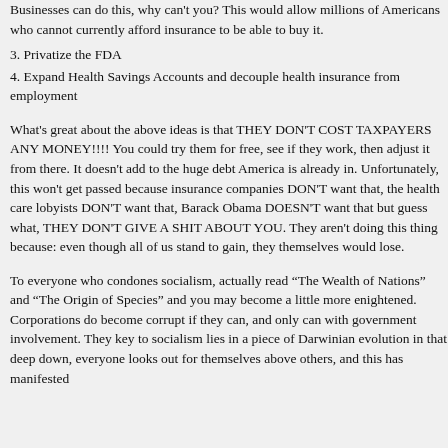Businesses can do this, why can't you? This would allow millions of Americans who cannot currently afford insurance to be able to buy it.
3. Privatize the FDA
4. Expand Health Savings Accounts and decouple health insurance from employment
What's great about the above ideas is that THEY DON'T COST TAXPAYERS ANY MONEY!!!! You could try them for free, see if they work, then adjust it from there. It doesn't add to the huge debt America is already in. Unfortunately, this won't get passed because insurance companies DON'T want that, the health care lobbyists DON'T want that, Barack Obama DOESN'T want that but guess what, THEY DON'T GIVE A SHIT ABOUT YOU. They aren't doing this thing because: even though all of us stand to gain, they themselves would lose.
To everyone who condones socialism, actually read "The Wealth of Nations" and "The Origin of Species" and you may become a little more enightened. Corporations do become corrupt if they can, and only can with government involvement. They key to socialism lies in a piece of Darwinian evolution in that deep down, every looks out for themselves above others, and this has manifested